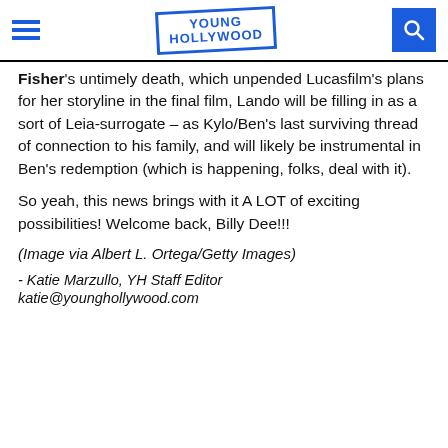Young Hollywood
Fisher's untimely death, which unpended Lucasfilm's plans for her storyline in the final film, Lando will be filling in as a sort of Leia-surrogate – as Kylo/Ben's last surviving thread of connection to his family, and will likely be instrumental in Ben's redemption (which is happening, folks, deal with it).

So yeah, this news brings with it A LOT of exciting possibilities! Welcome back, Billy Dee!!!
(Image via Albert L. Ortega/Getty Images)
- Katie Marzullo, YH Staff Editor
katie@younghollywood.com